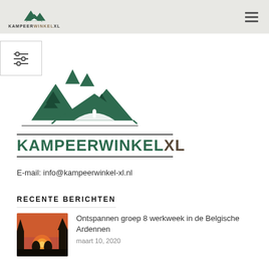KAMPEERWINKEL XL
[Figure (logo): KampeerwinkelXL logo with mountain/tent icon and text KAMPEERWINKELXL]
E-mail: info@kampeerwinkel-xl.nl
RECENTE BERICHTEN
[Figure (photo): Photo of a camping tent with campfire glow at dusk in forest setting]
Ontspannen groep 8 werkweek in de Belgische Ardennen
maart 10, 2020